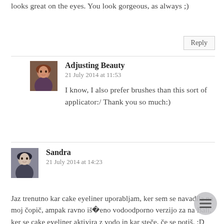looks great on the eyes. You look gorgeous, as always ;)
[Figure (screenshot): Reply button in top right corner]
[Figure (photo): Avatar photo of Adjusting Beauty commenter with red hair]
Adjusting Beauty
21 July 2014 at 11:53
I know, I also prefer brushes than this sort of applicator:/ Thank you so much:)
[Figure (photo): Avatar photo of Sandra commenter]
Sandra
21 July 2014 at 14:23
Jaz trenutno kar cake eyeliner uporabljam, ker sem se navadila na moj čopič, ampak ravno iščem eno vodoodporno verzijo za na Bali, ker se cake eyeliner aktivira z vodo in kar steče, če se potiš. :D